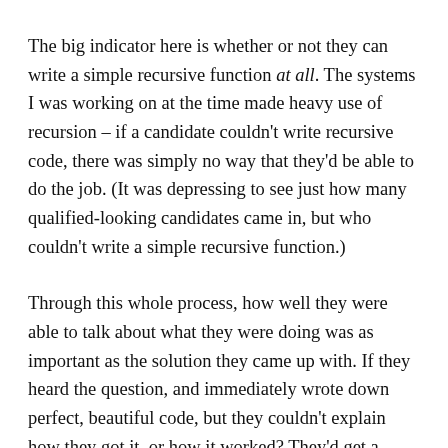The big indicator here is whether or not they can write a simple recursive function at all. The systems I was working on at the time made heavy use of recursion – if a candidate couldn't write recursive code, there was simply no way that they'd be able to do the job. (It was depressing to see just how many qualified-looking candidates came in, but who couldn't write a simple recursive function.)
Through this whole process, how well they were able to talk about what they were doing was as important as the solution they came up with. If they heard the question, and immediately wrote down perfect, beautiful code, but they couldn't explain how they got it, or how it worked? They'd get a mediocre rating, which wouldn't get them a job offer. If they made a lot of mistakes in their code, but they were crystal clear about explaining how they worked out a solution, and how it worked? They'd probably get a better rating than the perfect code candidate.